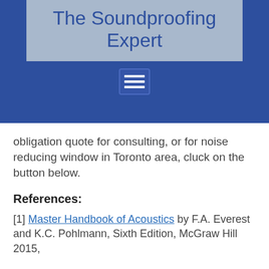The Soundproofing Expert
[Figure (other): Hamburger menu icon button with three white horizontal lines on a blue background]
obligation quote for consulting, or for noise reducing window in Toronto area, cluck on the button below.
References:
[1] Master Handbook of Acoustics by F.A. Everest and K.C. Pohlmann, Sixth Edition, McGraw Hill 2015,